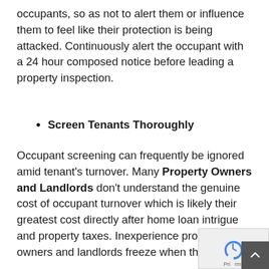occupants, so as not to alert them or influence them to feel like their protection is being attacked. Continuously alert the occupant with a 24 hour composed notice before leading a property inspection.
Screen Tenants Thoroughly
Occupant screening can frequently be ignored amid tenant's turnover. Many Property Owners and Landlords don't understand the genuine cost of occupant turnover which is likely their greatest cost directly after home loan intrigue and property taxes. Inexperience property owners and landlords freeze when they get